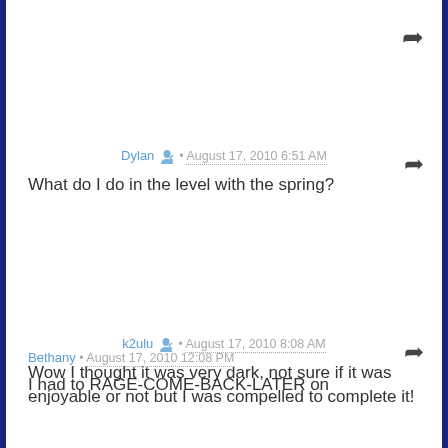Dylan · August 17, 2010 6:51 AM
What do I do in the level with the spring?
k2ulu · August 17, 2010 8:08 AM
Wow I thought it was very dark, not sure if it was enjoyable or not but I was compelled to complete it!
Bethany · August 17, 2010 12:08 PM
I had to RAGE-COME-BACK-LATER on